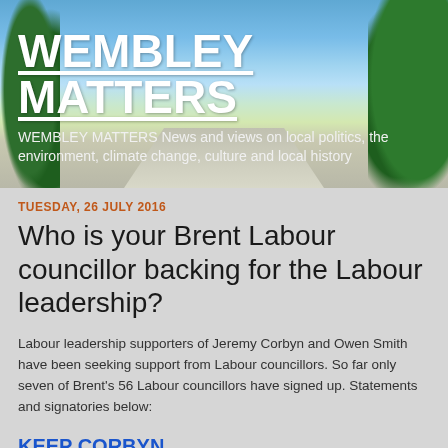[Figure (photo): Header banner with sky, trees, and road landscape background]
WEMBLEY MATTERS
WEMBLEY MATTERS News and views on local politics, the environment, climate change, culture and local history
TUESDAY, 26 JULY 2016
Who is your Brent Labour councillor backing for the Labour leadership?
Labour leadership supporters of Jeremy Corbyn and Owen Smith have been seeking support from Labour councillors. So far only seven of Brent's 56 Labour councillors have signed up. Statements and signatories below:
KEEP CORBYN
We are a group of Labour Party councillors who are dismayed by